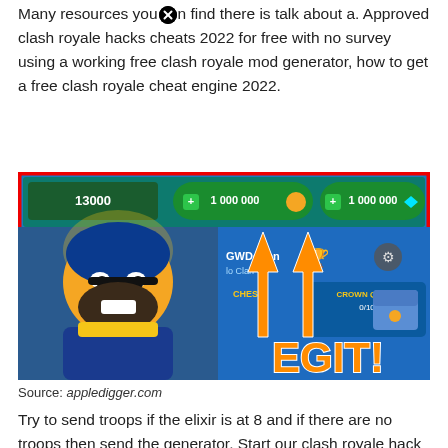Many resources you can find there is talk about a. Approved clash royale hacks cheats 2022 for free with no survey using a working free clash royale mod generator, how to get a free clash royale cheat engine 2022.
[Figure (screenshot): Screenshot of Clash Royale game with 1 000 000 gold and 1 000 000 gems shown, with orange arrows pointing at the resources, text 'EGIT!' at the bottom, and player name GWDorian visible.]
Source: appledigger.com
Try to send troops if the elixir is at 8 and if there are no troops then send the generator. Start our clash royale hack and get unlimited gems and gold.